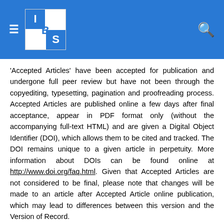[Figure (logo): IBS logo — a 2x2 grid of blue and white squares with letters I, B, S on a blue navigation bar with hamburger menu on left and search icon on right]
'Accepted Articles' have been accepted for publication and undergone full peer review but have not been through the copyediting, typesetting, pagination and proofreading process. Accepted Articles are published online a few days after final acceptance, appear in PDF format only (without the accompanying full-text HTML) and are given a Digital Object Identifier (DOI), which allows them to be cited and tracked. The DOI remains unique to a given article in perpetuity. More information about DOIs can be found online at http://www.doi.org/faq.html. Given that Accepted Articles are not considered to be final, please note that changes will be made to an article after Accepted Article online publication, which may lead to differences between this version and the Version of Record.

The Accepted Articles service has been designed to